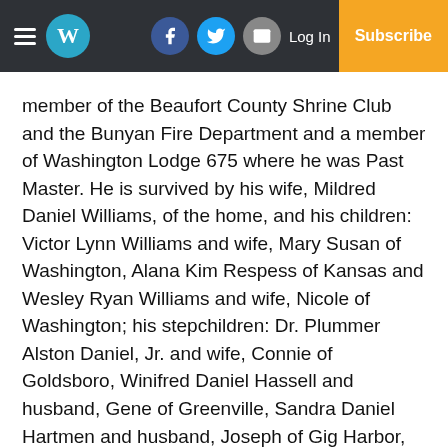W | Log In | Subscribe
member of the Beaufort County Shrine Club and the Bunyan Fire Department and a member of Washington Lodge 675 where he was Past Master. He is survived by his wife, Mildred Daniel Williams, of the home, and his children: Victor Lynn Williams and wife, Mary Susan of Washington, Alana Kim Respess of Kansas and Wesley Ryan Williams and wife, Nicole of Washington; his stepchildren: Dr. Plummer Alston Daniel, Jr. and wife, Connie of Goldsboro, Winifred Daniel Hassell and husband, Gene of Greenville, Sandra Daniel Hartmen and husband, Joseph of Gig Harbor, Washington State and Pamela Daniel Griffin and husband, Steve of Washington. He is also